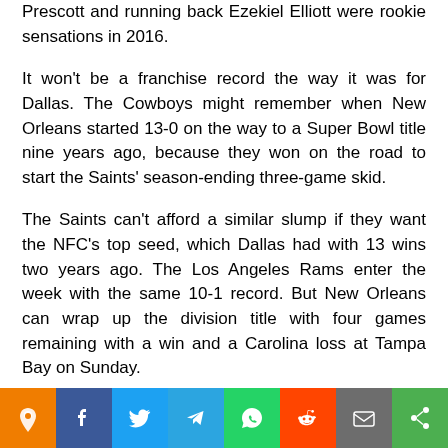Prescott and running back Ezekiel Elliott were rookie sensations in 2016.
It won't be a franchise record the way it was for Dallas. The Cowboys might remember when New Orleans started 13-0 on the way to a Super Bowl title nine years ago, because they won on the road to start the Saints' season-ending three-game skid.
The Saints can't afford a similar slump if they want the NFC's top seed, which Dallas had with 13 wins two years ago. The Los Angeles Rams enter the week with the same 10-1 record. But New Orleans can wrap up the division title with four games remaining with a win and a Carolina loss at Tampa Bay on Sunday.
“You don’t begin to count, but then you start beginning to do ants
[Figure (other): Social share bar with icons: location pin (orange), Facebook (blue), Twitter (blue), Telegram (blue), WhatsApp (green), Reddit (orange-red), email (gray), share (green)]